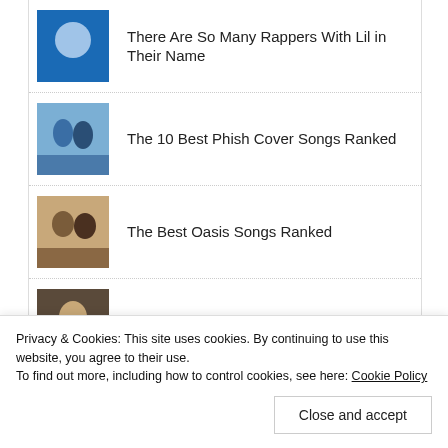There Are So Many Rappers With Lil in Their Name
The 10 Best Phish Cover Songs Ranked
The Best Oasis Songs Ranked
Anderson .Paak Songs Ranked
Twitter
Privacy & Cookies: This site uses cookies. By continuing to use this website, you agree to their use.
To find out more, including how to control cookies, see here: Cookie Policy
Close and accept